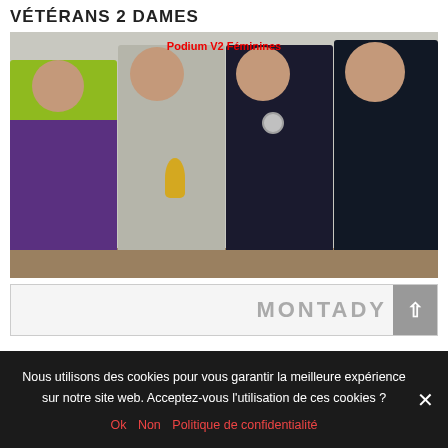VÉTÉRANS 2 DAMES
[Figure (photo): Group photo of four women standing together, labeled 'Podium V2 Féminines'. One woman holds a trophy, another wears a medal.]
MONTADY
Nous utilisons des cookies pour vous garantir la meilleure expérience sur notre site web. Acceptez-vous l'utilisation de ces cookies ?
Ok  Non  Politique de confidentialité